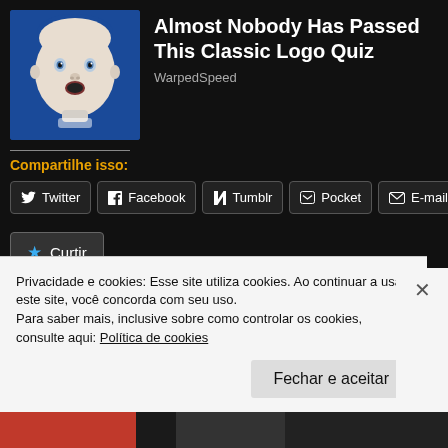[Figure (illustration): Thumbnail image of a baby face on a blue background (classic Gerber-style logo), approximately 130x130px.]
Almost Nobody Has Passed This Classic Logo Quiz
WarpedSpeed
Compartilhe isso:
Twitter
Facebook
Tumblr
Pocket
E-mail
★ Curtir
Privacidade e cookies: Esse site utiliza cookies. Ao continuar a usar este site, você concorda com seu uso.
Para saber mais, inclusive sobre como controlar os cookies, consulte aqui: Política de cookies
Fechar e aceitar